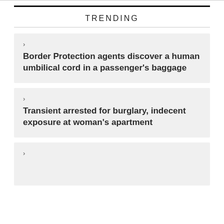TRENDING
Border Protection agents discover a human umbilical cord in a passenger's baggage
Transient arrested for burglary, indecent exposure at woman's apartment
(partial, cut off at bottom)